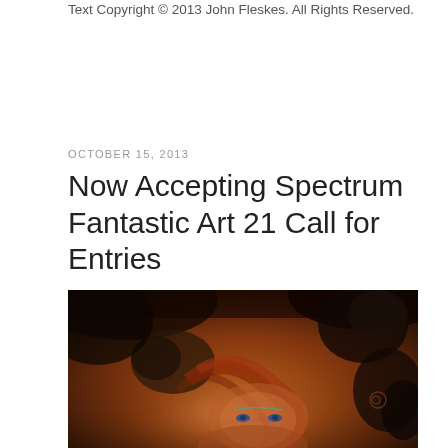Text Copyright © 2013 John Fleskes. All Rights Reserved.
OCTOBER 15, 2013
Now Accepting Spectrum Fantastic Art 21 Call for Entries
[Figure (illustration): Fantasy illustration showing a woman with red hair and face paint, surrounded by dark fantastical creatures including lizards and bird-like beings, in warm amber and brown tones.]